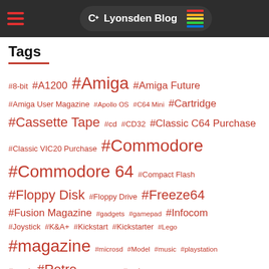Lyonsden Blog
Tags
#8-bit #A1200 #Amiga #Amiga Future #Amiga User Magazine #Apollo OS #C64 Mini #Cartridge #Cassette Tape #cd #CD32 #Classic C64 Purchase #Classic VIC20 Purchase #Commodore #Commodore 64 #Compact Flash #Floppy Disk #Floppy Drive #Freeze64 #Fusion Magazine #gadgets #gamepad #Infocom #Joystick #K&A+ #Kickstart #Kickstarter #Lego #magazine #microsd #Model #music #playstation #repair #Retro #Retrokomp #review #sd card #Text Adventure #Vampire Accelerator #VIC20